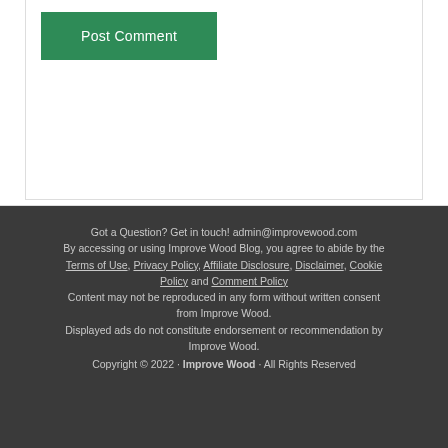Post Comment
Got a Question? Get in touch! admin@improvewood.com
By accessing or using Improve Wood Blog, you agree to abide by the Terms of Use, Privacy Policy, Affiliate Disclosure, Disclaimer, Cookie Policy and Comment Policy
Content may not be reproduced in any form without written consent from Improve Wood.
Displayed ads do not constitute endorsement or recommendation by Improve Wood.
Copyright © 2022 · Improve Wood · All Rights Reserved